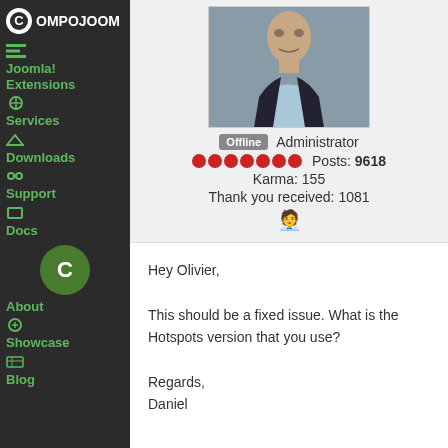[Figure (logo): Compojoom logo with green C circle and white text]
Joomla! Extensions
Services
Downloads
Support
Docs
[Figure (logo): Green circle C icon]
About
Showcase
Blog
[Figure (photo): Profile photo of a man in dark suit]
Offline  Administrator
Posts: 9618
Karma: 155
Thank you received: 1081
Hey Olivier,

This should be a fixed issue. What is the Hotspots version that you use?

Regards,
Daniel